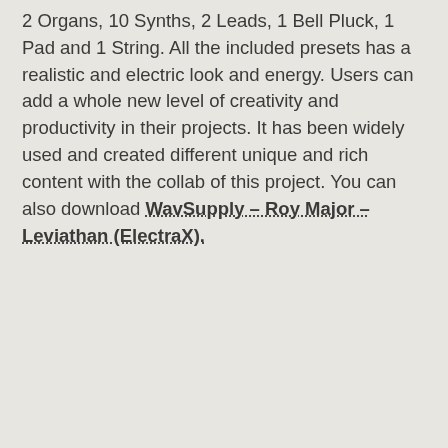2 Organs, 10 Synths, 2 Leads, 1 Bell Pluck, 1 Pad and 1 String. All the included presets has a realistic and electric look and energy. Users can add a whole new level of creativity and productivity in their projects. It has been widely used and created different unique and rich content with the collab of this project. You can also download WavSupply – Roy Major – Leviathan (ElectraX).